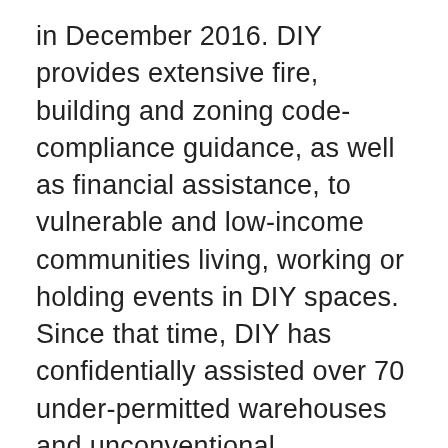in December 2016. DIY provides extensive fire, building and zoning code-compliance guidance, as well as financial assistance, to vulnerable and low-income communities living, working or holding events in DIY spaces. Since that time, DIY has confidentially assisted over 70 under-permitted warehouses and unconventional live/work/assembly sites facing displacement around the Bay Area, primarily in Oakland. The project also works daily on crafting policy changes with city and state jurisdictions to create more compassionate and safer building codes. In terms of long-term preservation, the project works actively with property owners, lenders, investors, land trusts and foundations to help place vulnerable, culturally-critical properties firmly on the path toward self-ownership for permanently